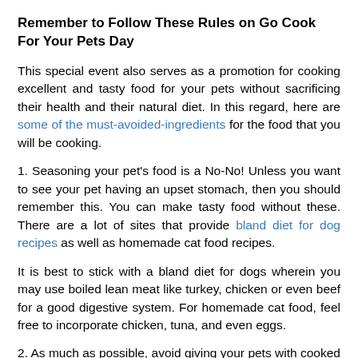Remember to Follow These Rules on Go Cook For Your Pets Day
This special event also serves as a promotion for cooking excellent and tasty food for your pets without sacrificing their health and their natural diet. In this regard, here are some of the must-avoided-ingredients for the food that you will be cooking.
1. Seasoning your pet’s food is a No-No! Unless you want to see your pet having an upset stomach, then you should remember this. You can make tasty food without these. There are a lot of sites that provide bland diet for dog recipes as well as homemade cat food recipes.
It is best to stick with a bland diet for dogs wherein you may use boiled lean meat like turkey, chicken or even beef for a good digestive system. For homemade cat food, feel free to incorporate chicken, tuna, and even eggs.
2. As much as possible, avoid giving your pets with cooked food that is mostly made from dairy. If you’re not 100% sure,